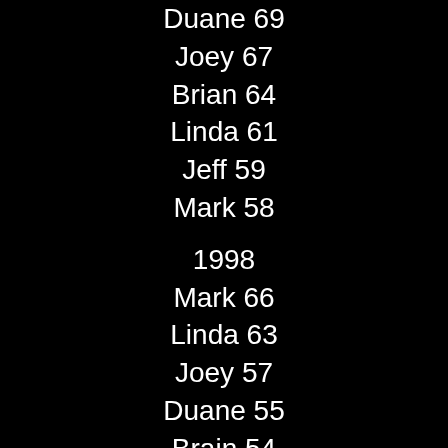Duane 69
Joey 67
Brian 64
Linda 61
Jeff 59
Mark 58
1998
Mark 66
Linda 63
Joey 57
Duane 55
Brain 54
Jeff 51
1999
Chris 74
Joey 71
Duane 66
Mark 66
Linda 55
Brian 54
2000
Linda 61
Mark 58